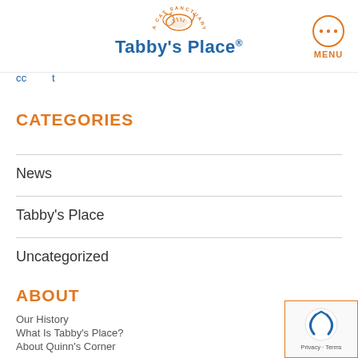Tabby's Place - A Cat Sanctuary
cc ... t
CATEGORIES
News
Tabby's Place
Uncategorized
ABOUT
Our History
What Is Tabby's Place?
About Quinn's Corner
[Figure (logo): reCAPTCHA badge with Privacy and Terms links]